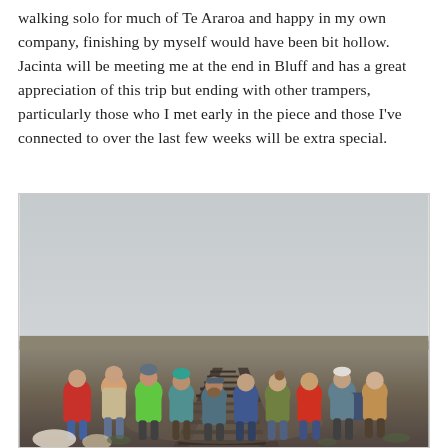walking solo for much of Te Araroa and happy in my own company, finishing by myself would have been bit hollow. Jacinta will be meeting me at the end in Bluff and has a great appreciation of this trip but ending with other trampers, particularly those who I met early in the piece and those I've connected to over the last few weeks will be extra special.
[Figure (photo): Group photo of approximately 10 trampers/hikers sitting together on railway tracks in a flat open landscape. They are wearing colorful outdoor gear (red, green, blue jackets, hats, backpacks). The background shows a grey overcast sky and flat terrain.]